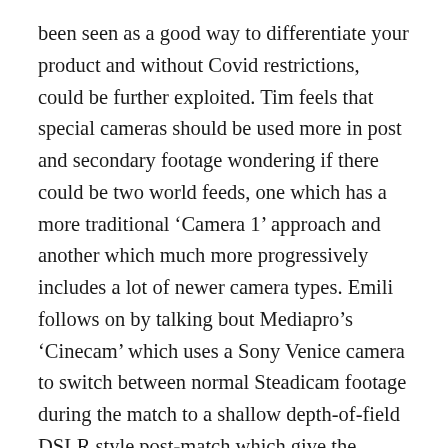been seen as a good way to differentiate your product and without Covid restrictions, could be further exploited. Tim feels that special cameras should be used more in post and secondary footage wondering if there could be two world feeds, one which has a more traditional ‘Camera 1’ approach and another which much more progressively includes a lot of newer camera types. Emili follows on by talking bout Mediapro’s ‘Cinecam’ which uses a Sony Venice camera to switch between normal Steadicam footage during the match to a shallow depth-of-field DSLR style post-match which give the celebrations a different, more cinematic look with the focus leading the viewer to the action.
The panel finishes by discussing the role of 5G. Emili sees it as a benefit to production and a way to increase